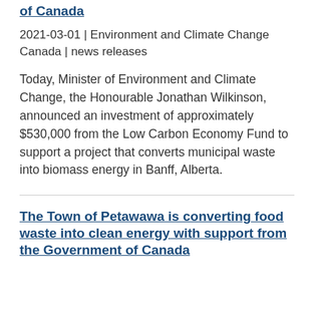of Canada
2021-03-01 | Environment and Climate Change Canada | news releases
Today, Minister of Environment and Climate Change, the Honourable Jonathan Wilkinson, announced an investment of approximately $530,000 from the Low Carbon Economy Fund to support a project that converts municipal waste into biomass energy in Banff, Alberta.
The Town of Petawawa is converting food waste into clean energy with support from the Government of Canada